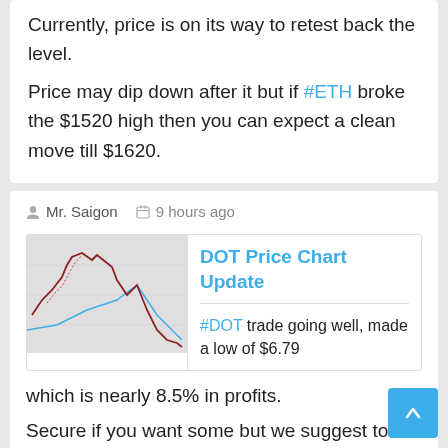Currently, price is on its way to retest back the level.
Price may dip down after it but if #ETH broke the $1520 high then you can expect a clean move till $1620.
Mr. Saigon  9 hours ago
[Figure (continuous-plot): DOT price chart showing a peak and decline]
DOT Price Chart Update
#DOT trade going well, made a low of $6.79
which is nearly 8.5% in profits.
Secure if you want some but we suggest to move stop loss to entry point.